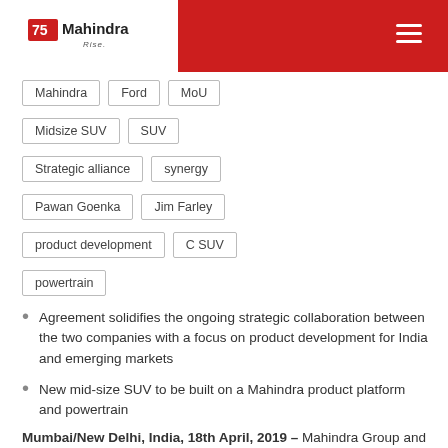Mahindra Rise
Mahindra   Ford   MoU
Midsize SUV   SUV
Strategic alliance   synergy
Pawan Goenka   Jim Farley
product development   C SUV
powertrain
Agreement solidifies the ongoing strategic collaboration between the two companies with a focus on product development for India and emerging markets
New mid-size SUV to be built on a Mahindra product platform and powertrain
Mumbai/New Delhi, India, 18th April, 2019 – Mahindra Group and Ford Motor Company today took the next step in strengthening their ongoing